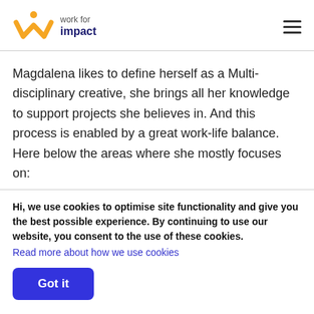[Figure (logo): Work for Impact logo — orange W with person icon above, text 'work for impact' with 'impact' in bold dark navy]
Magdalena likes to define herself as a Multi-disciplinary creative, she brings all her knowledge to support projects she believes in. And this process is enabled by a great work-life balance. Here below the areas where she mostly focuses on:
Hi, we use cookies to optimise site functionality and give you the best possible experience. By continuing to use our website, you consent to the use of these cookies.
Read more about how we use cookies
Got it